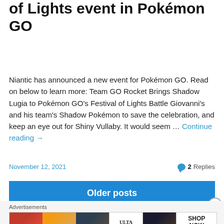of Lights event in Pokémon GO
Niantic has announced a new event for Pokémon GO. Read on below to learn more: Team GO Rocket Brings Shadow Lugia to Pokémon GO's Festival of Lights Battle Giovanni's and his team's Shadow Pokémon to save the celebration, and keep an eye out for Shiny Vullaby. It would seem … Continue reading →
November 12, 2021   💬 2 Replies
Older posts
Advertisements